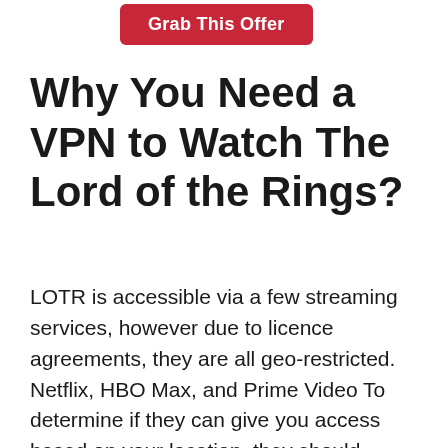[Figure (other): Red rounded rectangle button with white text reading 'Grab This Offer']
Why You Need a VPN to Watch The Lord of the Rings?
LOTR is accessible via a few streaming services, however due to licence agreements, they are all geo-restricted. Netflix, HBO Max, and Prime Video To determine if they can give you access based on your location, they should examine your IP address. You cannot access your accounts if you are outside of the licenced regions unless you use a VPN.
VPN also encrypts the data you send to the web so, you're fully secured from a hacker. VPN directs all of your internet traffic to one of its servers, where it's encrypted. For example,